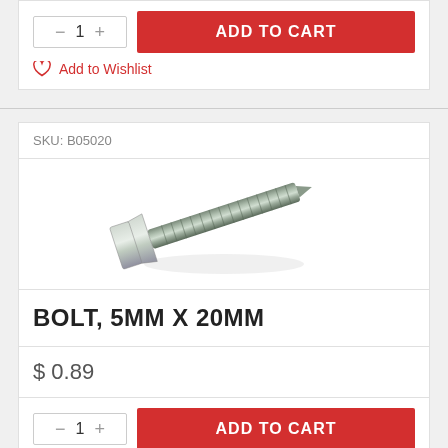— 1 + ADD TO CART
Add to Wishlist
SKU: B05020
[Figure (photo): A silver/chrome hex head bolt, 5mm x 20mm, photographed diagonally showing the threaded shaft and hexagonal head]
BOLT, 5MM X 20MM
$ 0.89
— 1 + ADD TO CART
Add to Wishlist